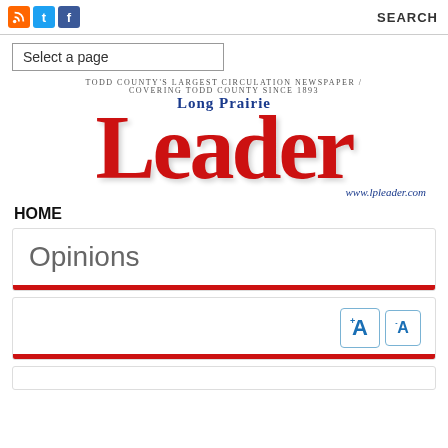SEARCH
Select a page
[Figure (logo): Long Prairie Leader newspaper masthead logo with tagline: TODD COUNTY'S LARGEST CIRCULATION NEWSPAPER / COVERING TODD COUNTY SINCE 1893. Large red 'Leader' text with 'Long Prairie' in blue above, and www.lpleader.com below.]
HOME
Opinions
[Figure (other): Font resize buttons: large A with plus superscript and smaller A with minus superscript, both in blue with rounded borders]